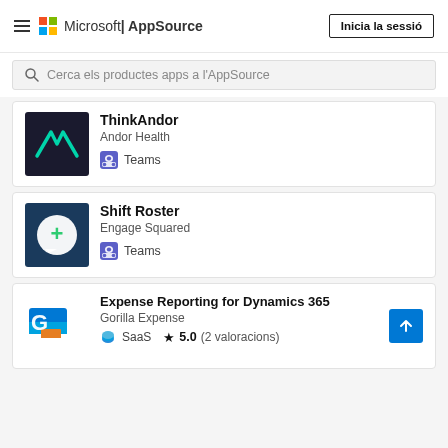Microsoft | AppSource — Inicia la sessió
Cerca els productes apps a l'AppSource
ThinkAndor
Andor Health
Teams
Shift Roster
Engage Squared
Teams
Expense Reporting for Dynamics 365
Gorilla Expense
★ 5.0 (2 valoracions)
SaaS